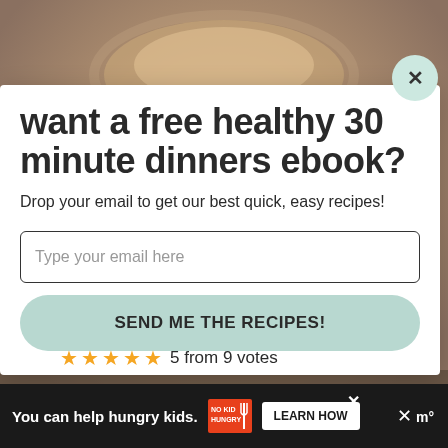[Figure (photo): Blurred background food photo, warm tones]
want a free healthy 30 minute dinners ebook?
Drop your email to get our best quick, easy recipes!
Type your email here
SEND ME THE RECIPES!
5 from 9 votes
You can help hungry kids.  NO KID HUNGRY  LEARN HOW